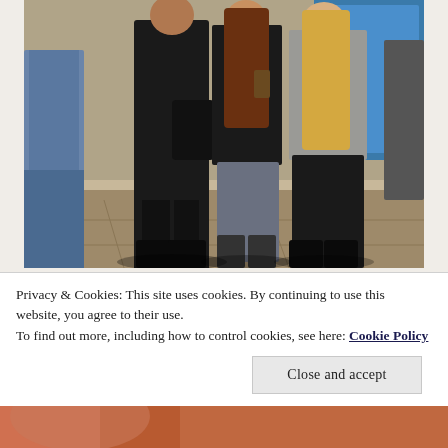[Figure (photo): Three young women standing outdoors on a sunny day at what appears to be a festival or outdoor event. They are holding drinks. One wears all black with a black bag, one wears a denim jacket over a blue top with grey jeans, and another wears a grey jacket. People and a blue structure are visible in the background.]
Privacy & Cookies: This site uses cookies. By continuing to use this website, you agree to their use.
To find out more, including how to control cookies, see here: Cookie Policy
[Figure (photo): Partial view of a second photo at the bottom of the page, showing what appears to be a person with reddish hair.]